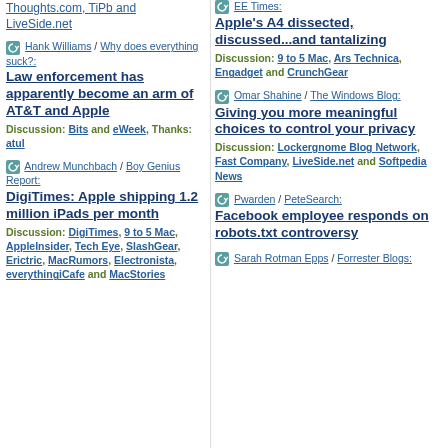Thoughts.com, TiPb and LiveSide.net
Hank Williams / Why does everything suck?: Law enforcement has apparently become an arm of AT&T and Apple. Discussion: Bits and eWeek, Thanks: atul
Andrew Munchbach / Boy Genius Report: DigiTimes: Apple shipping 1.2 million iPads per month. Discussion: DigiTimes, 9 to 5 Mac, AppleInsider, Tech Eye, SlashGear, Erictric, MacRumors, Electronista, everythingiCafe and MacStories
EE Times: Apple's A4 dissected, discussed...and tantalizing. Discussion: 9 to 5 Mac, Ars Technica, Engadget and CrunchGear
Omar Shahine / The Windows Blog: Giving you more meaningful choices to control your privacy. Discussion: Lockergnome Blog Network, Fast Company, LiveSide.net and Softpedia News
Pwarden / PeteSearch: Facebook employee responds on robots.txt controversy
Sarah Rotman Epps / Forrester Blogs: